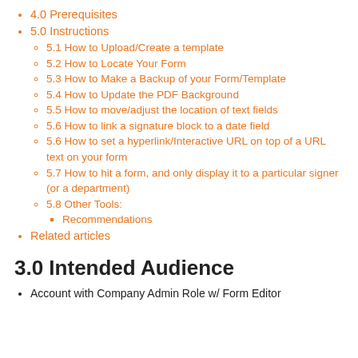4.0 Prerequisites
5.0 Instructions
5.1 How to Upload/Create a template
5.2 How to Locate Your Form
5.3 How to Make a Backup of your Form/Template
5.4 How to Update the PDF Background
5.5 How to move/adjust the location of text fields
5.6 How to link a signature block to a date field
5.6 How to set a hyperlink/Interactive URL on top of a URL text on your form
5.7 How to hit a form, and only display it to a particular signer (or a department)
5.8 Other Tools:
Recommendations
Related articles
3.0 Intended Audience
Account with Company Admin Role w/ Form Editor